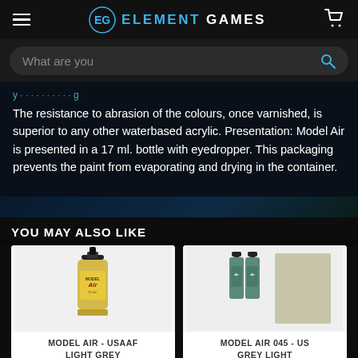Element Games
What are you
The resistance to abrasion of the colours, once varnished, is superior to any other waterbased acrylic. Presentation: Model Air is presented in a 17 ml. bottle with eyedropper. This packaging prevents the paint from evaporating and drying in the container.
YOU MAY ALSO LIKE
[Figure (photo): Model Air paint bottle - USAAF Light Grey product photo]
MODEL AIR - USAAF LIGHT GREY
[Figure (photo): Model Air 045 paint bottle - US Grey Light product photo with colour swatch]
MODEL AIR 045 - US GREY LIGHT